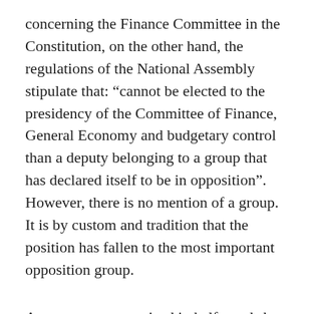concerning the Finance Committee in the Constitution, on the other hand, the regulations of the National Assembly stipulate that: “cannot be elected to the presidency of the Committee of Finance, General Economy and budgetary control than a deputy belonging to a group that has declared itself to be in opposition”. However, there is no mention of a group. It is by custom and tradition that the position has fallen to the most important opposition group.
A vagueness recognized in half words by government spokeswoman Olivia Grégoire, who stressed on France Inter that the post “must go constitutionally to an opposition group” but that “there is no certainty when we reads the Constitution”.